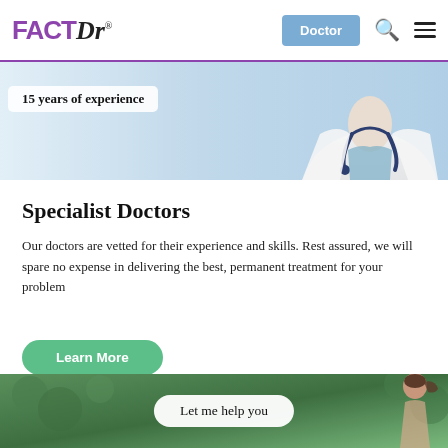FACTDr — Doctor navigation header with search and menu icons
[Figure (photo): Doctor in white coat with stethoscope, partial torso view, banner overlay reading '15 years of experience']
15 years of experience
Specialist Doctors
Our doctors are vetted for their experience and skills. Rest assured, we will spare no expense in delivering the best, permanent treatment for your problem
Learn More
[Figure (photo): Outdoor scene with person (partial, ponytail), green foliage background, badge reading 'Let me help you']
Let me help you